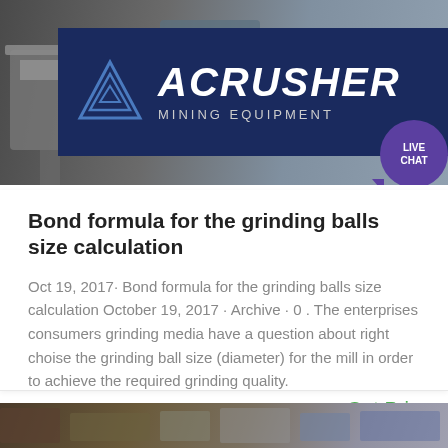[Figure (photo): Mining equipment website banner showing industrial machinery on the left and ACRUSHER MINING EQUIPMENT logo on a dark blue background on the right, with a purple live chat bubble]
Bond formula for the grinding balls size calculation
Oct 19, 2017· Bond formula for the grinding balls size calculation October 19, 2017 · Archive · 0 . The enterprises consumers grinding media have a question about right choise the grinding ball size (diameter) for the mill in order to achieve the required grinding quality.
Get Price